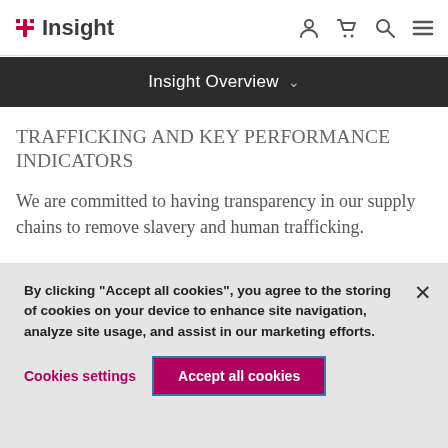Insight [logo] | navigation icons
Insight Overview
TRAFFICKING AND KEY PERFORMANCE INDICATORS
We are committed to having transparency in our supply chains to remove slavery and human trafficking.
By clicking “Accept all cookies”, you agree to the storing of cookies on your device to enhance site navigation, analyze site usage, and assist in our marketing efforts.
Cookies settings    Accept all cookies